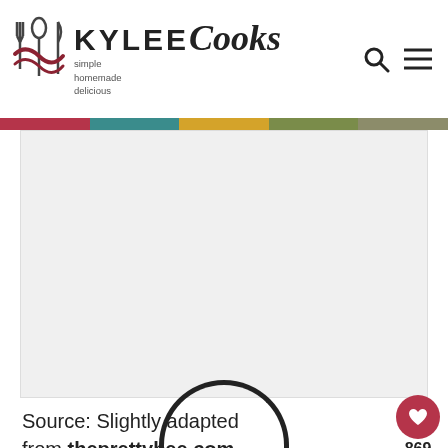KYLEE Cooks — simple homemade delicious
[Figure (other): Advertisement / empty placeholder area with light gray background]
Source: Slightly adapted from theprettybee.com